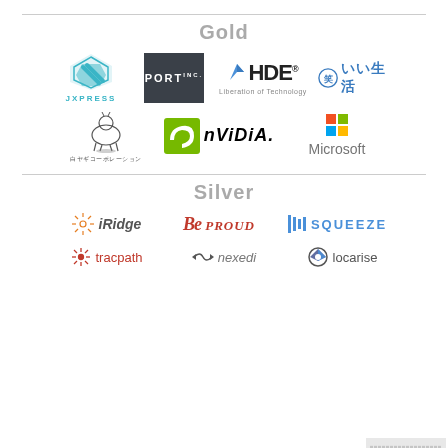[Figure (logo): Gold sponsor section divider line]
Gold
[Figure (logo): JXPRESS logo - teal diamond shape with JXPRESS text below]
[Figure (logo): PORT INC. logo - white text on dark background]
[Figure (logo): HDE Liberation of Technology logo]
[Figure (logo): ii Seikatsu (いい生活) logo]
[Figure (logo): Shiro Yagi Corporation (白ヤギコーポレーション) logo - goat illustration]
[Figure (logo): NVIDIA logo - green swirl mark with NVIDIA text]
[Figure (logo): Microsoft logo - four colored squares with Microsoft text]
[Figure (logo): Silver sponsor section divider line]
Silver
[Figure (logo): iRidge logo - starburst icon with iRidge text]
[Figure (logo): Be PROUD logo - stylized red text]
[Figure (logo): SQUEEZE logo - blue vertical bars with SQUEEZE text]
[Figure (logo): tracpath logo - red snowflake icon with tracpath text]
[Figure (logo): nexedi logo - arrow icon with nexedi text]
[Figure (logo): locarise logo - gear/target icon with locarise text]